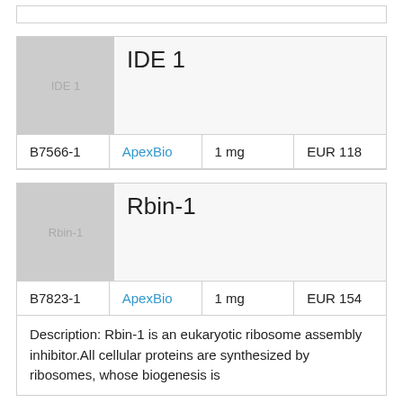| Image | Name | Catalog | Supplier | Amount | Price |
| --- | --- | --- | --- | --- | --- |
| IDE 1 (image) | IDE 1 | B7566-1 | ApexBio | 1 mg | EUR 118 |
| Image | Name | Catalog | Supplier | Amount | Price |
| --- | --- | --- | --- | --- | --- |
| Rbin-1 (image) | Rbin-1 | B7823-1 | ApexBio | 1 mg | EUR 154 |
Description: Rbin-1 is an eukaryotic ribosome assembly inhibitor.All cellular proteins are synthesized by ribosomes, whose biogenesis is